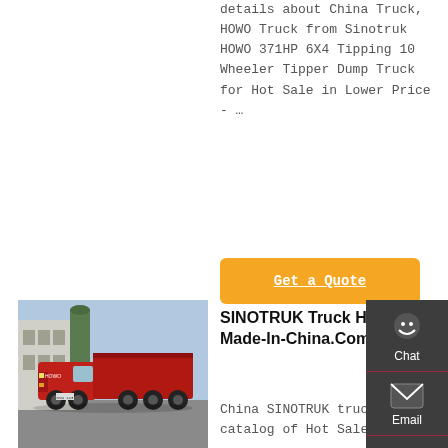details about China Truck, HOWO Truck from Sinotruk HOWO 371HP 6X4 Tipping 10 Wheeler Tipper Dump Truck for Hot Sale in Lower Price - …
[Figure (other): Orange 'Get a Quote' button]
[Figure (photo): Red SINOTRUK dump truck parked in a yard with buildings in background]
SINOTRUK Truck Head - Made-In-China.Com
China SINOTRUK truck head catalog of Hot Sale